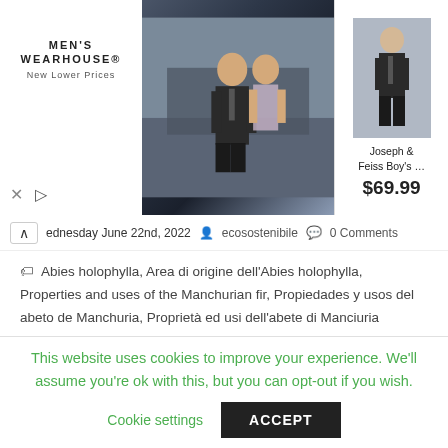[Figure (advertisement): Men's Wearhouse advertisement banner showing a couple in formal wear and a boy's suit priced at $69.99]
Wednesday June 22nd, 2022  ecosostenibile  0 Comments
Abies holophylla, Area di origine dell'Abies holophylla, Properties and uses of the Manchurian fir, Propiedades y usos del abeto de Manchuria, Proprietà ed usi dell'abete di Manciuria
Abies holophylla
The Manchurian fir (Abies holophylla Maxsim., 1866)
This website uses cookies to improve your experience. We'll assume you're ok with this, but you can opt-out if you wish. Cookie settings ACCEPT